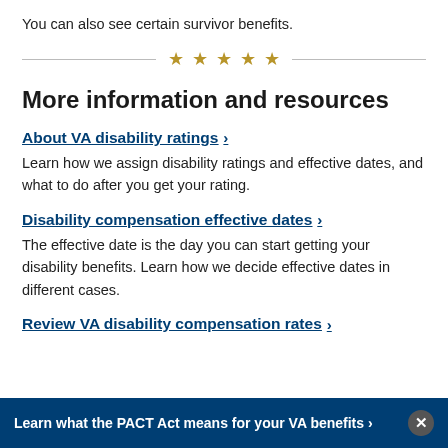You can also see certain survivor benefits.
[Figure (other): Decorative divider with five gold stars between two horizontal lines]
More information and resources
About VA disability ratings  ›
Learn how we assign disability ratings and effective dates, and what to do after you get your rating.
Disability compensation effective dates  ›
The effective date is the day you can start getting your disability benefits. Learn how we decide effective dates in different cases.
Review VA disability compensation rates  ›
Learn what the PACT Act means for your VA benefits ›